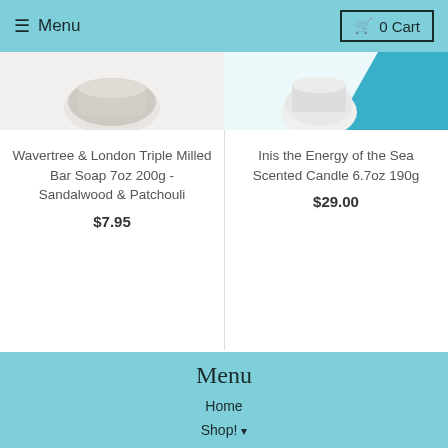≡ Menu   🛒 0 Cart
Wavertree & London Triple Milled Bar Soap 7oz 200g - Sandalwood & Patchouli
$7.95
Inis the Energy of the Sea Scented Candle 6.7oz 190g
$29.00
Menu
Home
Shop! ▾
Collections
About Us ▾